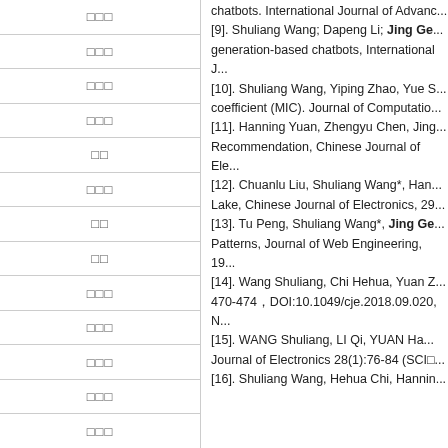□□□
□□□
□□□
□□□
□□
□□□
□□
□□
□□□
□□□
□□□
□□□
chatbots. International Journal of Advanc...
[9]. Shuliang Wang; Dapeng Li; Jing Ge... generation-based chatbots, International J...
[10]. Shuliang Wang, Yiping Zhao, Yue S... coefficient (MIC). Journal of Computatio...
[11]. Hanning Yuan, Zhengyu Chen, Jing... Recommendation, Chinese Journal of Ele...
[12]. Chuanlu Liu, Shuliang Wang*, Han... Lake, Chinese Journal of Electronics, 29...
[13]. Tu Peng, Shuliang Wang*, Jing Ge... Patterns, Journal of Web Engineering, 19...
[14]. Wang Shuliang, Chi Hehua, Yuan Z... 470-474，DOI:10.1049/cje.2018.09.020, N...
[15]. WANG Shuliang, LI Qi, YUAN Ha... Journal of Electronics 28(1):76-84 (SCI...
[16]. Shuliang Wang, Hehua Chi, Hannin...